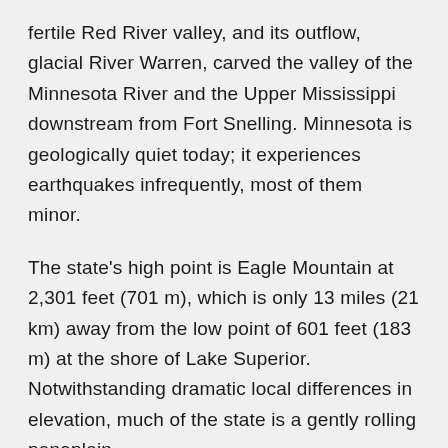fertile Red River valley, and its outflow, glacial River Warren, carved the valley of the Minnesota River and the Upper Mississippi downstream from Fort Snelling. Minnesota is geologically quiet today; it experiences earthquakes infrequently, most of them minor.
The state's high point is Eagle Mountain at 2,301 feet (701 m), which is only 13 miles (21 km) away from the low point of 601 feet (183 m) at the shore of Lake Superior. Notwithstanding dramatic local differences in elevation, much of the state is a gently rolling peneplain.
Two major drainage divides meet in Minnesota's northeast in rural Hibbing, forming a triple watershed. Precipitation can follow the Mississippi River south to the Gulf of Mexico, the Saint Lawrence Seaway east to